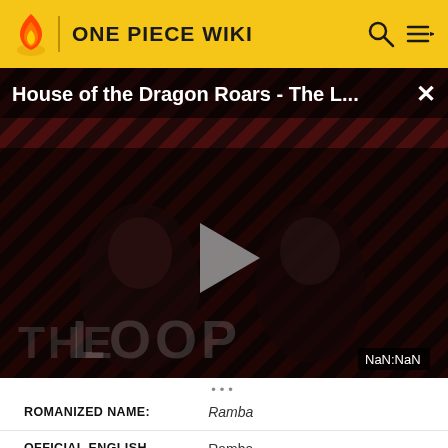ONE PIECE WIKI
[Figure (screenshot): Video thumbnail for 'House of the Dragon Roars - The L...' with a play button, diagonal stripe background in dark red/black, two figures visible, 'THE LOOP' text watermark, and a NaN:NaN timestamp in the bottom right.]
| ROMANIZED NAME: | Ramba |
| OFFICIAL ENGLISH NAME: | Ramba |
| DEBUT: | [1] |